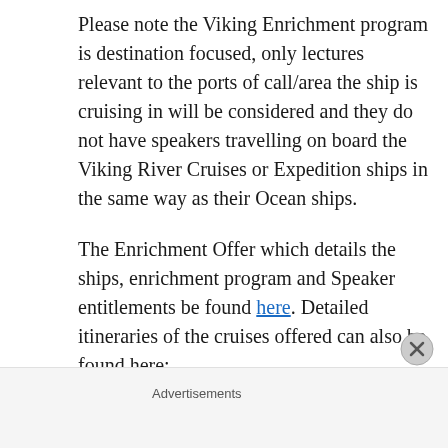Please note the Viking Enrichment program is destination focused, only lectures relevant to the ports of call/area the ship is cruising in will be considered and they do not have speakers travelling on board the Viking River Cruises or Expedition ships in the same way as their Ocean ships.
The Enrichment Offer which details the ships, enrichment program and Speaker entitlements be found here. Detailed itineraries of the cruises offered can also be found here: https://www.vikingcruises.co.uk/oceans/
Advertisements